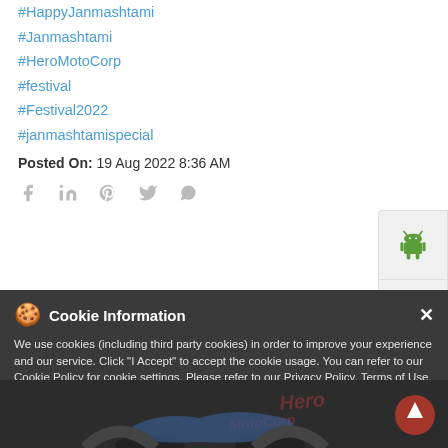#HappyJanmashtami
#Janmashtami
#HeroMotoCorp
#festival
#Festival2022
#janmashtamispecial
Posted On: 19 Aug 2022 8:36 AM
[Figure (screenshot): Cookie Information banner with cookie emoji icon, close X button, text about cookie usage policy with links to Cookie Policy, Privacy Policy, Terms of Use, Disclaimer, Rules & Regulations, Data Collection Contract, and an I ACCEPT button]
[Figure (photo): Dark background with partial view of a motorcycle, Hero MotoCorp watermark visible]